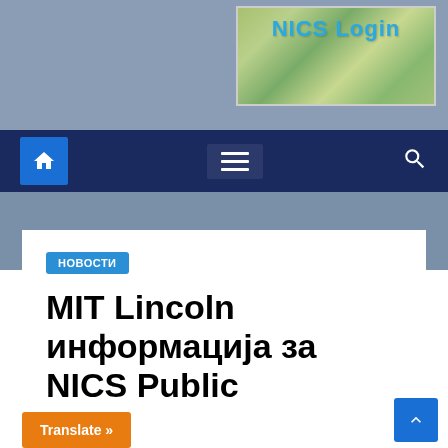[Figure (screenshot): Top banner with blue-gray background and NICS Login map image in top right corner]
NICS Login navigation bar with home icon, hamburger menu, and search icon
НОВОСТИ
MIT Lincoln информација за NICS Public
s
25, 2020